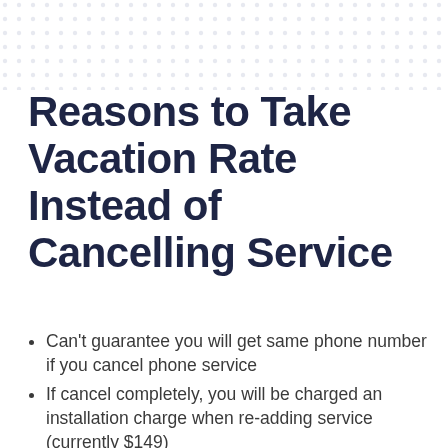[Figure (other): Decorative dot/circle pattern background at the top of the page]
Reasons to Take Vacation Rate Instead of Cancelling Service
Can't guarantee you will get same phone number if you cancel phone service
If cancel completely, you will be charged an installation charge when re-adding service (currently $149)
MUST return equipment if cancelling service
Keep security systems and cameras online while you are away